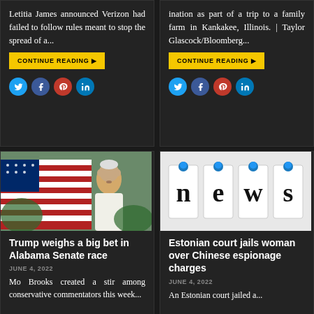Letitia James announced Verizon had failed to follow rules meant to stop the spread of a...
CONTINUE READING
[Figure (infographic): Social share icons: Twitter, Facebook, Pinterest, LinkedIn (left card, top row)]
ination as part of a trip to a family farm in Kankakee, Illinois. | Taylor Glascock/Bloomberg...
CONTINUE READING
[Figure (infographic): Social share icons: Twitter, Facebook, Pinterest, LinkedIn (right card, top row)]
[Figure (photo): Photo of an older man speaking outdoors with an American flag in the background]
Trump weighs a big bet in Alabama Senate race
JUNE 4, 2022
Mo Brooks created a stir among conservative commentators this week...
[Figure (illustration): Illustration showing the word 'news' made of paper cards pinned to a surface with blue pushpins]
Estonian court jails woman over Chinese espionage charges
JUNE 4, 2022
An Estonian court jailed a...